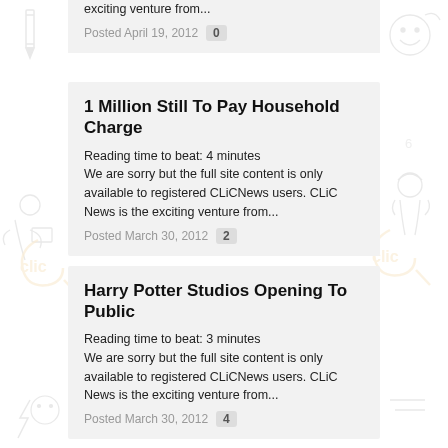exciting venture from...
Posted April 19, 2012  0
1 Million Still To Pay Household Charge
Reading time to beat: 4 minutes
We are sorry but the full site content is only available to registered CLiCNews users. CLiC News is the exciting venture from...
Posted March 30, 2012  2
Harry Potter Studios Opening To Public
Reading time to beat: 3 minutes
We are sorry but the full site content is only available to registered CLiCNews users. CLiC News is the exciting venture from...
Posted March 30, 2012  4
RTÉ Swinging The Axe
Reading time to beat: 4 minutes
We are sorry but the full site content is only available to registered CLiCNews users. CLiC News is the